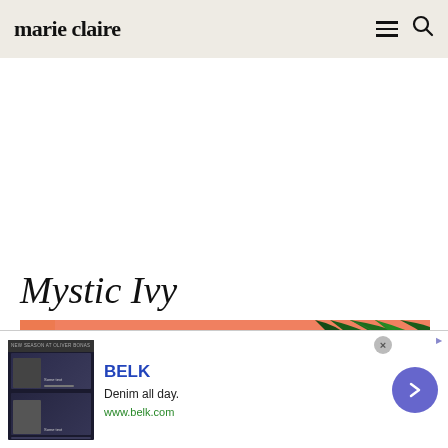marie claire
Mystic Ivy
[Figure (photo): Person with bright green hair wearing a gold leaf crown headpiece, against a peach/orange background with dark green tropical leaves on the right side]
[Figure (photo): BELK advertisement banner: thumbnail showing fashion/denim images, BELK brand name in blue, tagline 'Denim all day.' and URL www.belk.com, with a blue circular arrow button on the right]